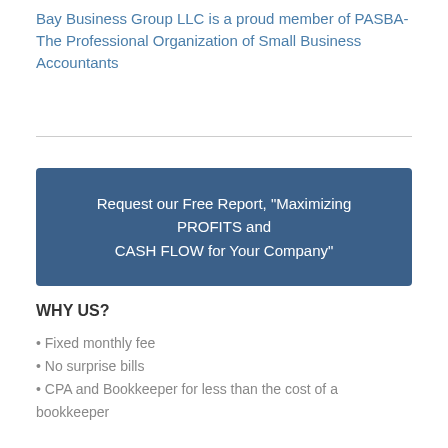Bay Business Group LLC is a proud member of PASBA- The Professional Organization of Small Business Accountants
Request our Free Report, "Maximizing PROFITS and CASH FLOW for Your Company"
WHY US?
• Fixed monthly fee
• No surprise bills
• CPA and Bookkeeper for less than the cost of a bookkeeper